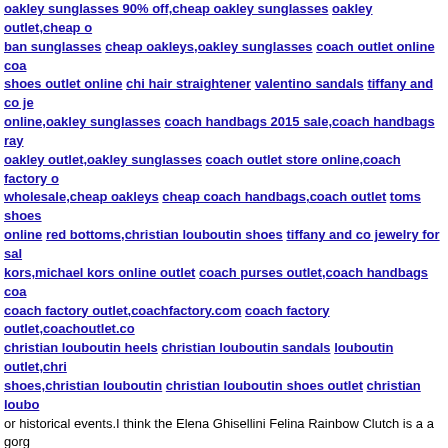oakley sunglasses 90% off,cheap oakley sunglasses oakley outlet,cheap o ban sunglasses cheap oakleys,oakley sunglasses coach outlet online coa shoes outlet online chi hair straightener valentino sandals tiffany and co je online,oakley sunglasses coach handbags 2015 sale,coach handbags ray oakley outlet,oakley sunglasses coach outlet store online,coach factory o wholesale,cheap oakleys cheap coach handbags,coach outlet toms shoes online red bottoms,christian louboutin shoes tiffany and co jewelry for sal kors,michael kors online outlet coach purses outlet,coach handbags coa coach factory outlet,coachfactory.com coach factory outlet,coachoutlet.co christian louboutin heels christian louboutin sandals louboutin outlet,chri shoes,christian louboutin christian louboutin shoes outlet christian loubo or historical events.I think the Elena Ghisellini Felina Rainbow Clutch is a a gorg
VepQ1aV6G2RD
http://autoinsurancert.com/productliabilityinsurance.html http://quotesqw.com/on http://cheapcarinsurancei.us/philadelphia_auto_insurance_company.html http://c
NkFgk5s4ezRZ
http://onlineinsuranceplan.net/liability-insurance-architect.html http://onlineinsura insurance-quotes-online.html http://carinsurancestart.info/arizona_health_care_p http://onlineinsuranceplan.net/caribbean-travel-insurance.html
6WJ6kC4hiXSr
http://autoinsurancenem.info/cheap-title-insurance-pa.html http://autoinsurancer http://autoinsurancenem.info/thegeneralcarinsurancedaytonohio.html http://autoi medical-aid.html http://carinsurancehit.xyz/grouphealthinsurancechicago.html
mzVexXvMXw4
http://viagracos.com/dependantonviagra.html http://viagramrk.xyz/how-to-make- http://viagraonlineqo.com/onwhatdatewasviagradiscovered.html http://viagra